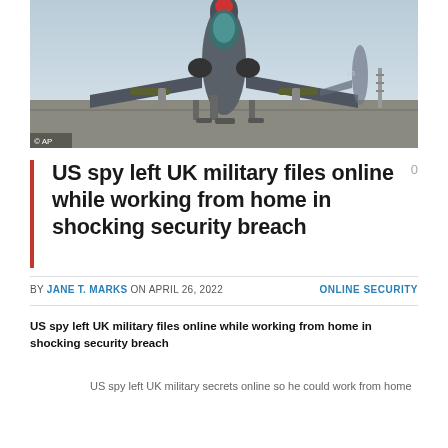[Figure (photo): Military fighter jet on a runway, viewed from the front/nose, with weapons and equipment underneath. Another aircraft visible to the right. AP photo credit shown.]
US spy left UK military files online while working from home in shocking security breach
BY JANE T. MARKS ON APRIL 26, 2022 | ONLINE SECURITY
US spy left UK military files online while working from home in shocking security breach
US spy left UK military secrets online so he could work from home